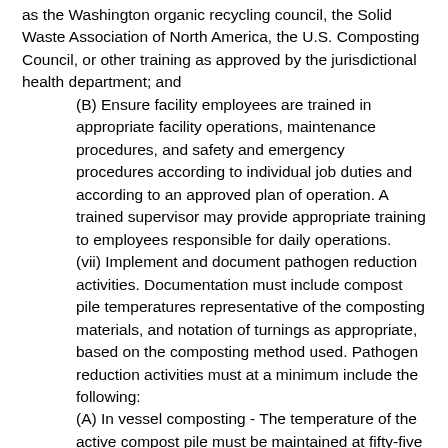as the Washington organic recycling council, the Solid Waste Association of North America, the U.S. Composting Council, or other training as approved by the jurisdictional health department; and
(B) Ensure facility employees are trained in appropriate facility operations, maintenance procedures, and safety and emergency procedures according to individual job duties and according to an approved plan of operation. A trained supervisor may provide appropriate training to employees responsible for daily operations.
(vii) Implement and document pathogen reduction activities. Documentation must include compost pile temperatures representative of the composting materials, and notation of turnings as appropriate, based on the composting method used. Pathogen reduction activities must at a minimum include the following:
(A) In vessel composting - The temperature of the active compost pile must be maintained at fifty-five degrees Celsius (one hundred thirty-one degrees Fahrenheit) or higher for three consecutive days